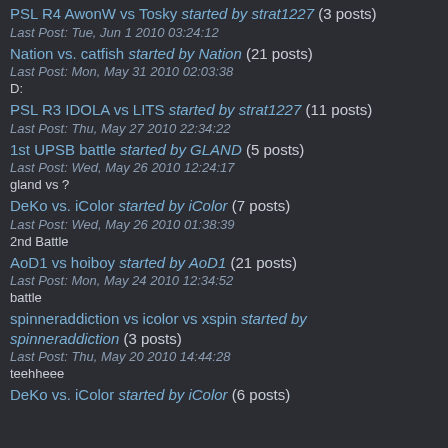PSL R4 AwonW vs Tosky started by strat1227 (3 posts)
Last Post: Tue, Jun 1 2010 03:24:12
Nation vs. catfish started by Nation (21 posts)
Last Post: Mon, May 31 2010 02:03:38
D:
PSL R3 IDOLA vs LITS started by strat1227 (11 posts)
Last Post: Thu, May 27 2010 22:34:22
1st UPSB battle started by GLAND (5 posts)
Last Post: Wed, May 26 2010 12:24:17
gland vs ?
DeKo vs. iColor started by iColor (7 posts)
Last Post: Wed, May 26 2010 01:38:39
2nd Battle
AoD1 vs hoiboy started by AoD1 (21 posts)
Last Post: Mon, May 24 2010 12:34:52
battle
spinneraddiction vs icolor vs xspin started by spinneraddiction (3 posts)
Last Post: Thu, May 20 2010 14:44:28
teehheee
DeKo vs. iColor started by iColor (6 posts)